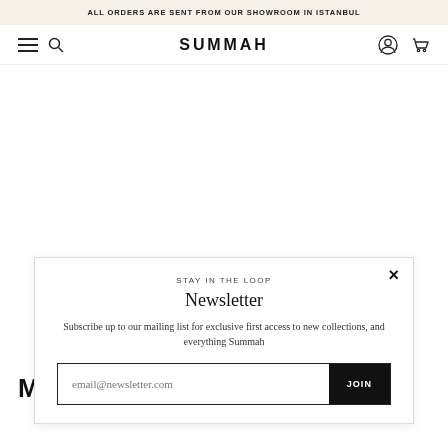ALL ORDERS ARE SENT FROM OUR SHOWROOM IN ISTANBUL
[Figure (screenshot): Navigation bar with hamburger menu icon, search icon, SUMMAH logo, user account icon, and cart icon]
MEDITERRENEAN
STAY IN THE LOOP
Newsletter
Subscribe up to our mailing list for exclusive first access to new collections, and everything Summah
email@newsletter.com   JOIN